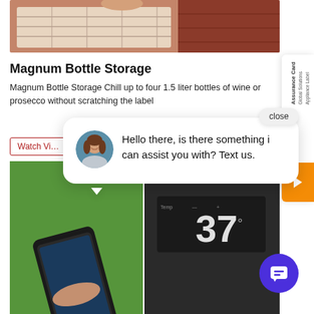[Figure (photo): Top portion of a wine refrigerator showing pull-out wooden wine storage drawer with bottles]
Magnum Bottle Storage
Magnum Bottle Storage Chill up to four 1.5 liter bottles of wine or prosecco without scratching the label
[Figure (screenshot): Chat pop-up overlay with close button, avatar of a woman and message: Hello there, is there something i can assist you with? Text us.]
[Figure (screenshot): Side bar card for Global Solutions Assurance Card with orange arrow button]
[Figure (photo): Bottom section showing a hand holding a phone app and a refrigerator digital display showing 37 degrees]
[Figure (screenshot): Purple circular chat/messaging icon in bottom right]